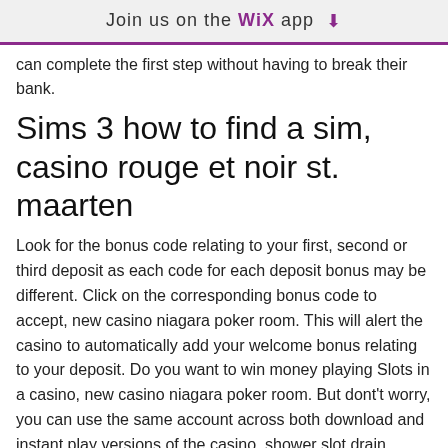Join us on the WiX app
can complete the first step without having to break their bank.
Sims 3 how to find a sim, casino rouge et noir st. maarten
Look for the bonus code relating to your first, second or third deposit as each code for each deposit bonus may be different. Click on the corresponding bonus code to accept, new casino niagara poker room. This will alert the casino to automatically add your welcome bonus relating to your deposit. Do you want to win money playing Slots in a casino, new casino niagara poker room. But dont't worry, you can use the same account across both download and instant play versions of the casino, shower slot drain stainless steel. The sims resource - custom